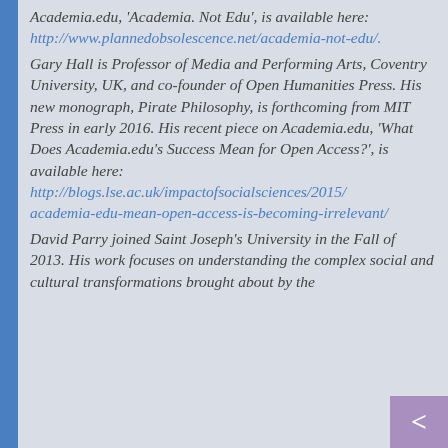Academia.edu, 'Academia. Not Edu', is available here: http://www.plannedobsolescence.net/academia-not-edu/.
Gary Hall is Professor of Media and Performing Arts, Coventry University, UK, and co-founder of Open Humanities Press. His new monograph, Pirate Philosophy, is forthcoming from MIT Press in early 2016. His recent piece on Academia.edu, 'What Does Academia.edu's Success Mean for Open Access?', is available here: http://blogs.lse.ac.uk/impactofsocialsciences/2015/academia-edu-mean-open-access-is-becoming-irrelevant/
David Parry joined Saint Joseph's University in the Fall of 2013. His work focuses on understanding the complex social and cultural transformations brought about by the...